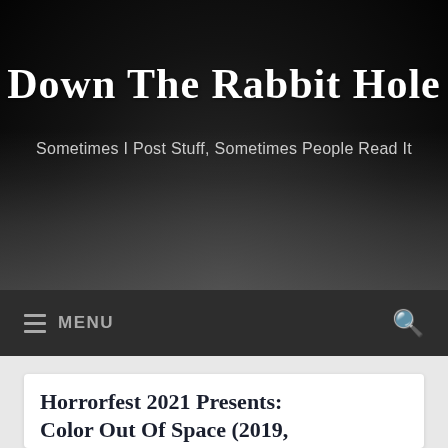[Figure (screenshot): Blog header banner with dark background showing a road through trees. Title reads 'Down The Rabbit Hole' in cursive white text. Subtitle reads 'Sometimes I Post Stuff, Sometimes People Read It' in gray text.]
Down The Rabbit Hole
Sometimes I Post Stuff, Sometimes People Read It
≡ MENU
TAG: 2010S MOVIES
Horrorfest 2021 Presents: Color Out Of Space (2019,